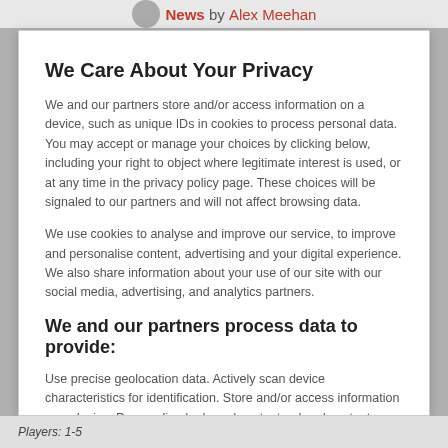News by Alex Meehan
We Care About Your Privacy
We and our partners store and/or access information on a device, such as unique IDs in cookies to process personal data. You may accept or manage your choices by clicking below, including your right to object where legitimate interest is used, or at any time in the privacy policy page. These choices will be signaled to our partners and will not affect browsing data.
We use cookies to analyse and improve our service, to improve and personalise content, advertising and your digital experience. We also share information about your use of our site with our social media, advertising, and analytics partners.
We and our partners process data to provide:
Use precise geolocation data. Actively scan device characteristics for identification. Store and/or access information on a device. Personalised ads and content, ad and content measurement, audience insights and product development.
List of Partners (vendors)
Players: 1-5